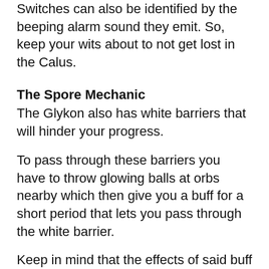Switches can also be identified by the beeping alarm sound they emit. So, keep your wits about to not get lost in the Calus.
The Spore Mechanic
The Glykon also has white barriers that will hinder your progress.
To pass through these barriers you have to throw glowing balls at orbs nearby which then give you a buff for a short period that lets you pass through the white barrier.
Keep in mind that the effects of said buff wear out quickly so don’t dilly dally once you get the buff and go through the barrier immediately.